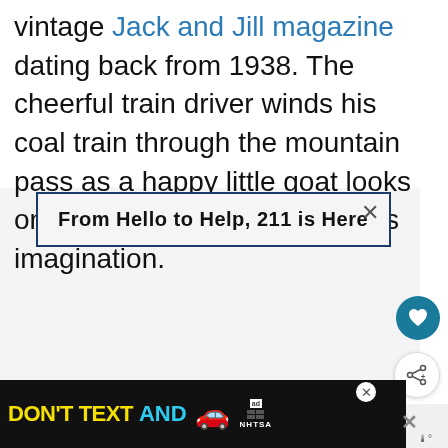vintage Jack and Jill magazine dating back from 1938. The cheerful train driver winds his coal train through the mountain pass as a happy little goat looks on, straight into your little one's imagination.
[Figure (screenshot): Advertisement banner reading 'From Hello to Help, 211 is Here' with dark blue border on light gray background, with close X button]
[Figure (screenshot): Circular teal heart/favorite button icon]
[Figure (screenshot): Circular share button with share icon]
[Figure (screenshot): What's Next panel showing thumbnail and text '19 Outdoor Wall Decor...']
[Figure (screenshot): Bottom advertisement banner: DON'T TEXT AND [drive] with red car graphic and NHTSA logo]